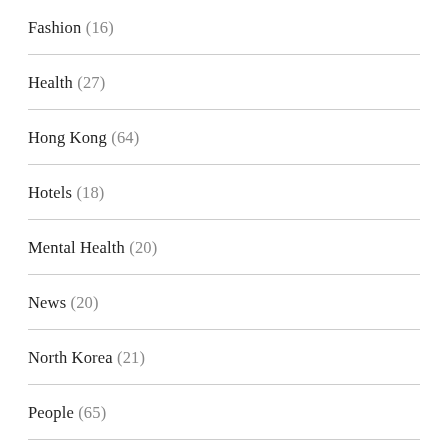Fashion (16)
Health (27)
Hong Kong (64)
Hotels (18)
Mental Health (20)
News (20)
North Korea (21)
People (65)
Property & Architecture (11)
Science (10)